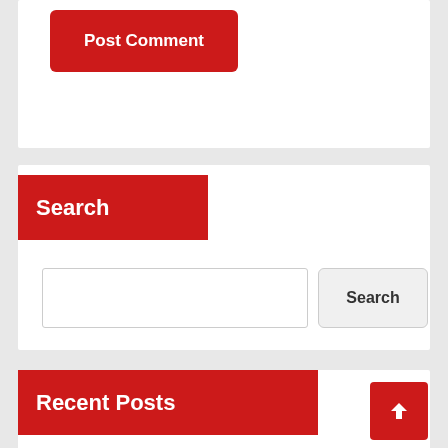[Figure (screenshot): Post Comment button — red rounded rectangle with white bold text]
Search
[Figure (screenshot): Search input field (empty text box) and a Search button]
Recent Posts
Seattle Garage Door Repair 425-272-6679
Key on Spot Locksmith | Philadelphia (267-296-1026)